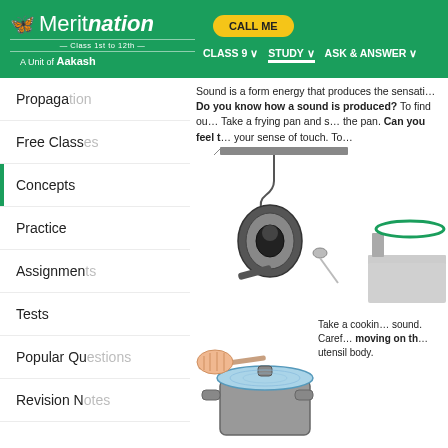Meritnation — Class 1st to 12th — A Unit of Aakash | CALL ME | CLASS 9 | STUDY | ASK & ANSWER
Propagation
Free Classes
Concepts
Practice
Assignments
Tests
Popular Qu
Revision N
Sound is a form energy that produces the sensati... Do you know how a sound is produced? To find ou... Take a frying pan and s... the pan. Can you feel t... your sense of touch. To...
[Figure (illustration): Illustration of a frying pan hanging from a hook on a ceiling bracket, with a spoon nearby, and a cylinder with a ring on a platform on the right side.]
[Figure (illustration): Illustration of a hand using a spoon to strike a cooking pot lid, with a cooking pot below.]
Take a cookin... sound. Caref... moving on th... utensil body.